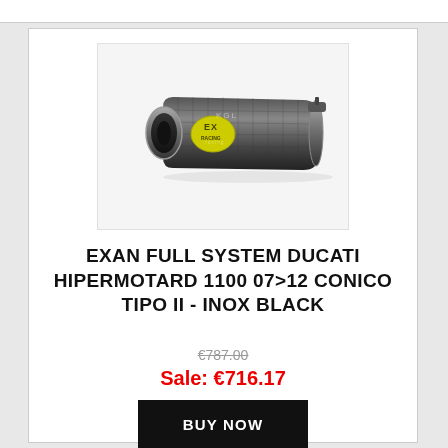[Figure (photo): Black exhaust muffler/silencer with chrome end cap and yellow EX Racing logo label, positioned diagonally on a light grey background]
EXAN FULL SYSTEM DUCATI HIPERMOTARD 1100 07>12 CONICO TIPO II - INOX BLACK
€787.00
Sale: €716.17
BUY NOW